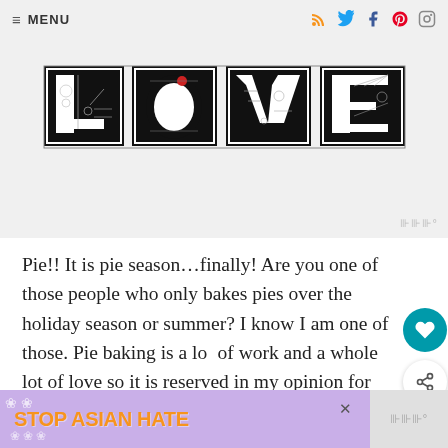≡ MENU | RSS Twitter Facebook Pinterest Instagram
[Figure (illustration): Decorative LOVE letters made from black and white intricate doodle/zentangle art, with L, O, V, E each styled as detailed patterned letter blocks]
Pie!! It is pie season…finally! Are you one of those people who only bakes pies over the holiday season or summer? I know I am one of those. Pie baking is a lot of work and a whole lot of love so it is reserved in my opinion for those treasured family times like when we gather for the holidays. Or in the summer when fresh
[Figure (infographic): WHAT'S NEXT → Sweet Potato Cupcakes wi... promotional box with thumbnail image]
[Figure (infographic): Stop Asian Hate advertisement banner with purple floral background, orange bold text, and illustrated character]